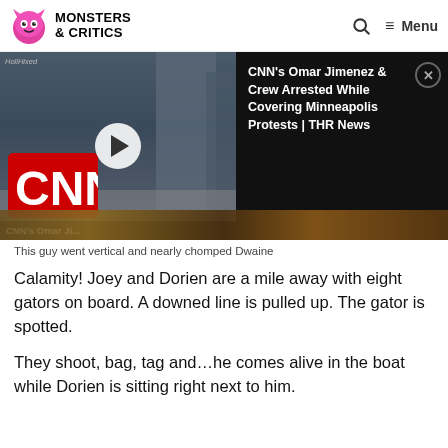Monsters & Critics
[Figure (screenshot): Video player overlay showing CNN logo thumbnail with play button and article title panel: 'CNN's Omar Jimenez & Crew Arrested While Covering Minneapolis Protests | THR News']
This guy went vertical and nearly chomped Dwaine
Calamity! Joey and Dorien are a mile away with eight gators on board. A downed line is pulled up. The gator is spotted.
They shoot, bag, tag and…he comes alive in the boat while Dorien is sitting right next to him.